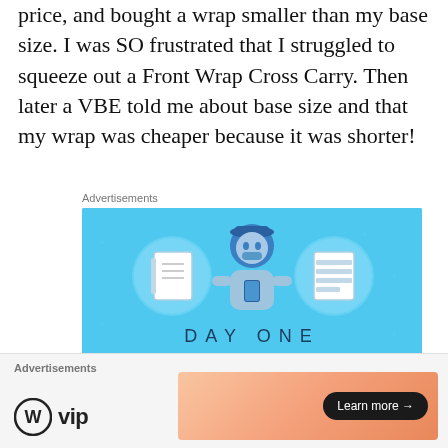price, and bought a wrap smaller than my base size. I was SO frustrated that I struggled to squeeze out a Front Wrap Cross Carry. Then later a VBE told me about base size and that my wrap was cheaper because it was shorter!
Advertisements
[Figure (illustration): Day One journaling app advertisement. Light blue background with illustration of a person using a phone, flanked by two circular icons (notebook and lined document). Text reads: DAY ONE - The only journaling app you'll ever need.]
Advertisements
[Figure (logo): WordPress VIP logo with circular W icon and 'vip' text]
[Figure (illustration): Peach/orange gradient advertisement banner with 'Learn more →' button]